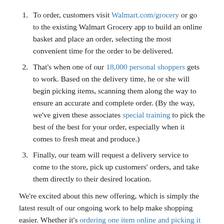To order, customers visit Walmart.com/grocery or go to the existing Walmart Grocery app to build an online basket and place an order, selecting the most convenient time for the order to be delivered.
That's when one of our 18,000 personal shoppers gets to work. Based on the delivery time, he or she will begin picking items, scanning them along the way to ensure an accurate and complete order. (By the way, we've given these associates special training to pick the best of the best for your order, especially when it comes to fresh meat and produce.)
Finally, our team will request a delivery service to come to the store, pick up customers' orders, and take them directly to their desired location.
We're excited about this new offering, which is simply the latest result of our ongoing work to help make shopping easier. Whether it's ordering one item online and picking it up the same day in our stores, pulling your car into our parking lot to collect a grocery pickup order, or now ordering – and receiving – groceries at your convenience, you've now got so many choices to fit your needs. We're